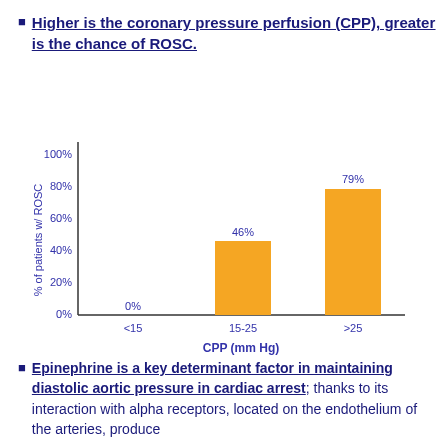Higher is the coronary pressure perfusion (CPP), greater is the chance of ROSC.
[Figure (bar-chart): ]
Epinephrine is a key determinant factor in maintaining diastolic aortic pressure in cardiac arrest; thanks to its interaction with alpha receptors, located on the endothelium of the arteries, produce